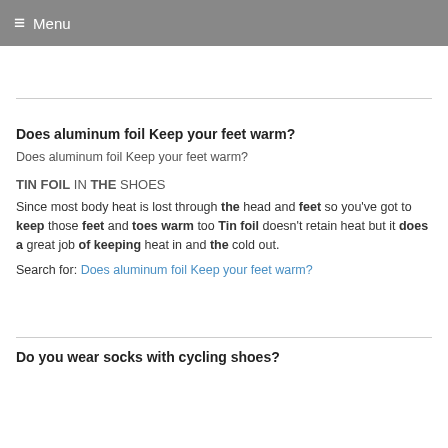≡ Menu
Does aluminum foil Keep your feet warm?
Does aluminum foil Keep your feet warm?
TIN FOIL IN THE SHOES
Since most body heat is lost through the head and feet so you've got to keep those feet and toes warm too Tin foil doesn't retain heat but it does a great job of keeping heat in and the cold out.
Search for: Does aluminum foil Keep your feet warm?
Do you wear socks with cycling shoes?